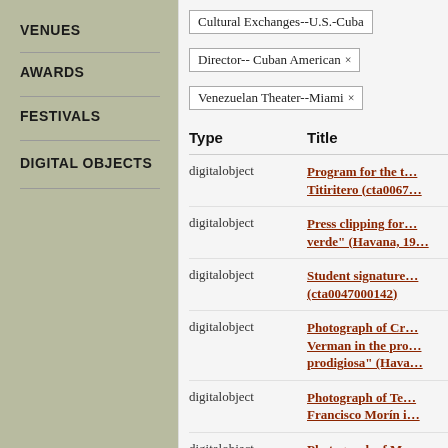VENUES
AWARDS
FESTIVALS
DIGITAL OBJECTS
Cultural Exchanges--U.S.-Cuba
Director-- Cuban American ×
Venezuelan Theater--Miami ×
| Type | Title |
| --- | --- |
| digitalobject | Program for the t… Titiritero (cta0067… |
| digitalobject | Press clipping for… verde" (Havana, 19… |
| digitalobject | Student signature… (cta0047000142) |
| digitalobject | Photograph of Cr… Verman in the pro… prodigiosa" (Hava… |
| digitalobject | Photograph of Te… Francisco Morín i… |
| digitalobject | Photograph of Ma… |